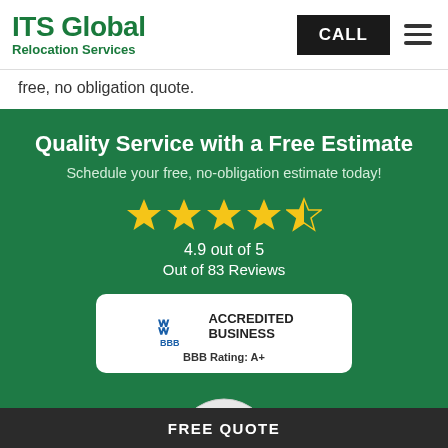ITS Global Relocation Services — CALL
free, no obligation quote.
Quality Service with a Free Estimate
Schedule your free, no-obligation estimate today!
[Figure (infographic): 4.9 out of 5 stars rating (4 full stars + 1 half star), with text '4.9 out of 5' and 'Out of 83 Reviews']
[Figure (logo): BBB Accredited Business badge with BBB Rating: A+]
[Figure (logo): Bekins Silver Certified badge (partially visible)]
FREE QUOTE